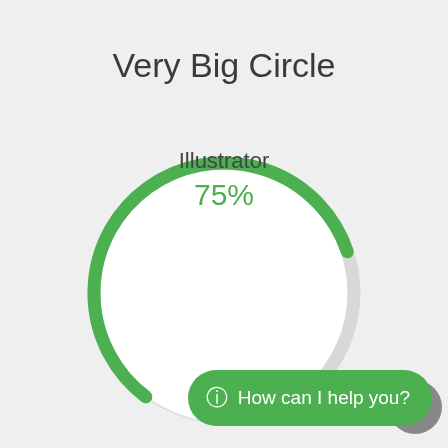Very Big Circle
[Figure (donut-chart): Illustrator]
How can I help you?